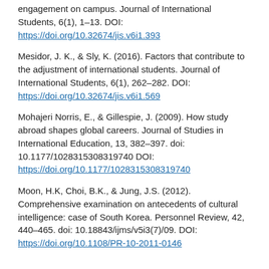engagement on campus. Journal of International Students, 6(1), 1–13. DOI: https://doi.org/10.32674/jis.v6i1.393
Mesidor, J. K., & Sly, K. (2016). Factors that contribute to the adjustment of international students. Journal of International Students, 6(1), 262–282. DOI: https://doi.org/10.32674/jis.v6i1.569
Mohajeri Norris, E., & Gillespie, J. (2009). How study abroad shapes global careers. Journal of Studies in International Education, 13, 382–397. doi: 10.1177/1028315308319740 DOI: https://doi.org/10.1177/1028315308319740
Moon, H.K, Choi, B.K., & Jung, J.S. (2012). Comprehensive examination on antecedents of cultural intelligence: case of South Korea. Personnel Review, 42, 440–465. doi: 10.18843/ijms/v5i3(7)/09. DOI: https://doi.org/10.1108/PR-10-2011-0146